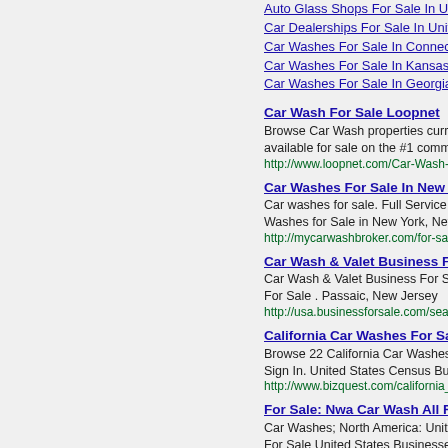[Figure (other): Gray placeholder image block 1]
[Figure (other): Gray placeholder image block 2]
[Figure (other): Gray placeholder image block 3]
Auto Glass Shops For Sale In United...
Car Dealerships For Sale In United St...
Car Washes For Sale In Connecticut
Car Washes For Sale In Kansas
Car Washes For Sale In Georgia
Car Wash For Sale Loopnet
Browse Car Wash properties curre... available for sale on the #1 comme...
http://www.loopnet.com/Car-Wash-For-Sa...
Car Washes For Sale In New Yor...
Car washes for sale. Full Service C... Washes for Sale in New York, New...
http://mycarwashbroker.com/for-sale/new...
Car Wash & Valet Business For S...
Car Wash & Valet Business For Sa... For Sale . Passaic, New Jersey
http://usa.businessforsale.com/search/ca...
California Car Washes For Sale B...
Browse 22 California Car Washes f... Sign In. United States Census Bure...
http://www.bizquest.com/california_car-w...
For Sale: Nwa Car Wash All Reas...
Car Washes; North America: Unite... For Sale United States Businesses...
https://mergernetwork.com/for-sale/north...
For Sale: Franchised Commercia...
Popular Car Wash For Sale #3754... America: United States: Texas Texa...
https://mergernetwork.com/for-sale/fran...